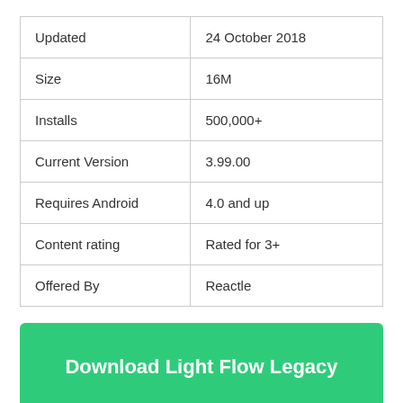|  |  |
| --- | --- |
| Updated | 24 October 2018 |
| Size | 16M |
| Installs | 500,000+ |
| Current Version | 3.99.00 |
| Requires Android | 4.0 and up |
| Content rating | Rated for 3+ |
| Offered By | Reactle |
Download Light Flow Legacy